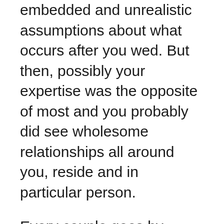embedded and unrealistic assumptions about what occurs after you wed. But then, possibly your expertise was the opposite of most and you probably did see wholesome relationships all around you, reside and in particular person.
Every couple goes by means of some form of change within the life of their relationship. An actual relationship goal for long-time period happiness is creating robust boundaries to guard your accomplice and your love. One of the helpful issues you can do in your relationship is to consciously set targets based mostly on what you both need from the connection and work